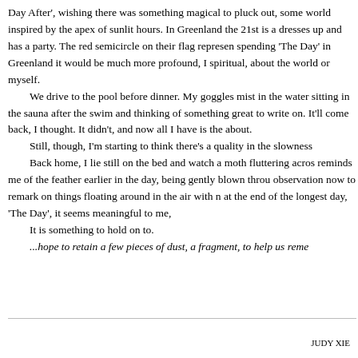Day After', wishing there was something magical to pluck out, some world inspired by the apex of sunlit hours. In Greenland the 21st is a dresses up and has a party. The red semicircle on their flag represen spending 'The Day' in Greenland it would be much more profound, I spiritual, about the world or myself.
    We drive to the pool before dinner. My goggles mist in the water sitting in the sauna after the swim and thinking of something great to write on. It'll come back, I thought. It didn't, and now all I have is the about.
    Still, though, I'm starting to think there's a quality in the slowness
    Back home, I lie still on the bed and watch a moth fluttering acros reminds me of the feather earlier in the day, being gently blown throu observation now to remark on things floating around in the air with n at the end of the longest day, 'The Day', it seems meaningful to me,
    It is something to hold on to.
    ...hope to retain a few pieces of dust, a fragment, to help us reme
JUDY XIE